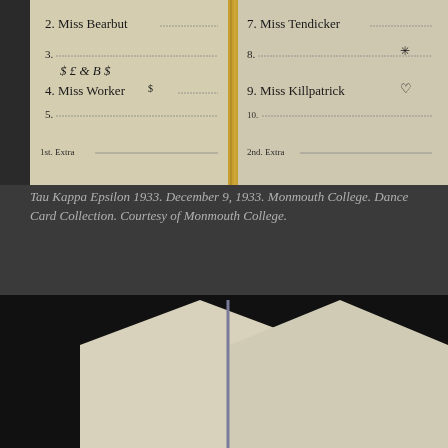[Figure (photo): Open dance card booklet showing two pages. Left page lists numbered entries: 2. Miss Bearbut, 3. (blank with currency symbols doodles), 4. Miss Worker (with $ symbols), 5. (blank), 1st. Extra (blank). Right page: 7. Miss Tendicker, 8. (blank with decorative burst), 9. Miss Killpatrick (with heart), 10. (blank), 2nd. Extra (blank). Pages are cream/yellowed with handwritten ink entries and a gold/yellow cord binding.]
Tau Kappa Epsilon 1933. December 9, 1933. Monmouth College. Dance Card Collection. Courtesy of Monmouth College.
[Figure (photo): Open booklet with triangular/tent-shaped pages against a black background. Left page headed MENU with a horizontal rule, listing: Salted Nuts, Roast Young Turkey, Dressing (partially visible). Right page headed DANCES with numbered lines: 1. (dotted line with faint handwriting), 2. (dotted line with faint handwriting). A cord binds the center.]